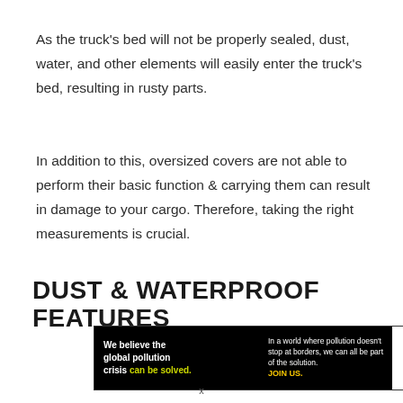As the truck’s bed will not be properly sealed, dust, water, and other elements will easily enter the truck’s bed, resulting in rusty parts.
In addition to this, oversized covers are not able to perform their basic function & carrying them can result in damage to your cargo. Therefore, taking the right measurements is crucial.
DUST & WATERPROOF FEATURES
[Figure (infographic): Pure Earth advertisement banner. Black background on left with white bold text reading 'We believe the global pollution crisis can be solved.' with 'can be solved.' in yellow-green. Middle section text: 'In a world where pollution doesn’t stop at borders, we can all be part of the solution. JOIN US.' with JOIN US in yellow. Right side white background with Pure Earth logo (diamond shape with layers) and bold text PURE EARTH.]
x